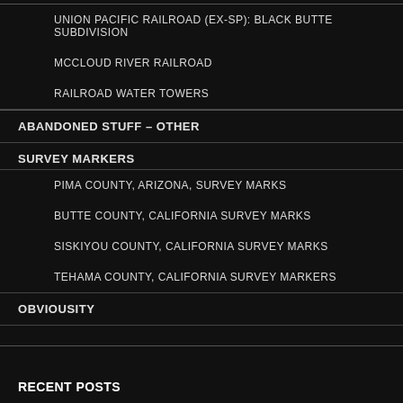UNION PACIFIC RAILROAD (EX-SP): BLACK BUTTE SUBDIVISION
MCCLOUD RIVER RAILROAD
RAILROAD WATER TOWERS
ABANDONED STUFF – OTHER
SURVEY MARKERS
PIMA COUNTY, ARIZONA, SURVEY MARKS
BUTTE COUNTY, CALIFORNIA SURVEY MARKS
SISKIYOU COUNTY, CALIFORNIA SURVEY MARKS
TEHAMA COUNTY, CALIFORNIA SURVEY MARKERS
OBVIOUSITY
RECENT POSTS